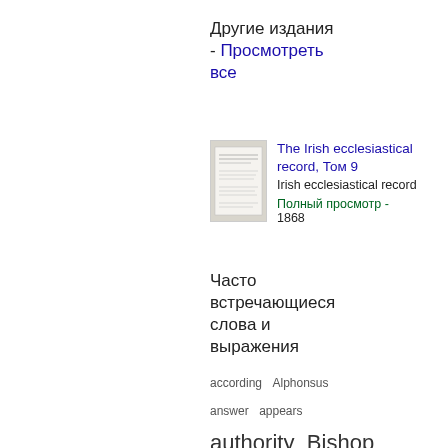Другие издания - Просмотреть все
[Figure (illustration): Thumbnail image of a book cover for The Irish ecclesiastical record, Том 9]
The Irish ecclesiastical record, Том 9 Irish ecclesiastical record Полный просмотр - 1868
Часто встречающиеся слова и выражения
according  Alphonsus  answer  appears  authority  Bishop  blood  body  Bull  Burke  Catholic